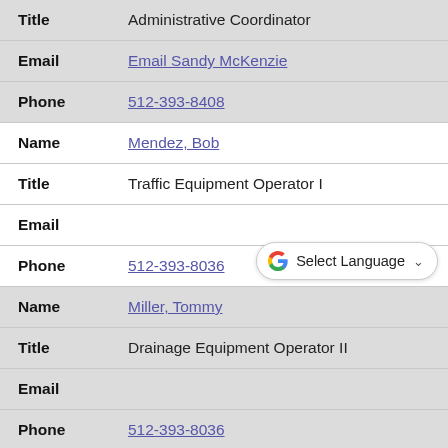| Field | Value |
| --- | --- |
| Title | Administrative Coordinator |
| Email | Email Sandy McKenzie |
| Phone | 512-393-8408 |
| Name | Mendez, Bob |
| Title | Traffic Equipment Operator I |
| Email |  |
| Phone | 512-393-8036 |
| Name | Miller, Tommy |
| Title | Drainage Equipment Operator II |
| Email |  |
| Phone | 512-393-8036 |
| Name | Muery, Bryan |
| Title | Traffic Signal Technician |